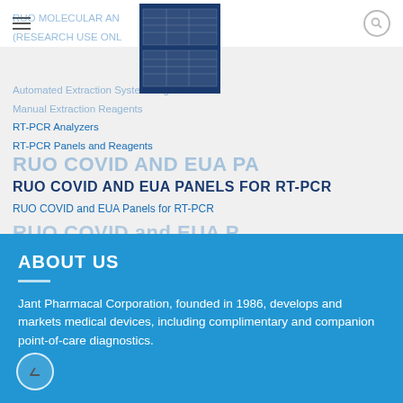RT-PCR Analyzers
RT-PCR Panels and Reagents
RUO COVID AND EUA PANELS FOR RT-PCR
RUO COVID and EUA Panels for RT-PCR
ABOUT US
Jant Pharmacal Corporation, founded in 1986, develops and markets medical devices, including complimentary and companion point-of-care diagnostics.